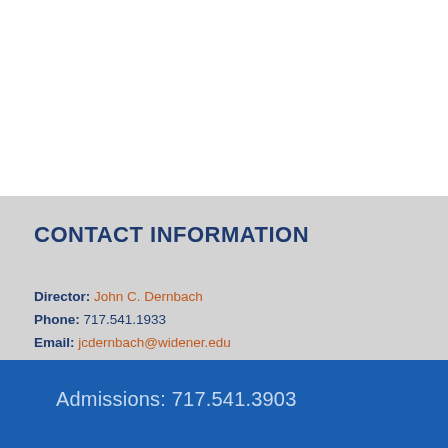CONTACT INFORMATION
Director: John C. Dernbach
Phone: 717.541.1933
Email: jcdernbach@widener.edu
Admissions: 717.541.3903